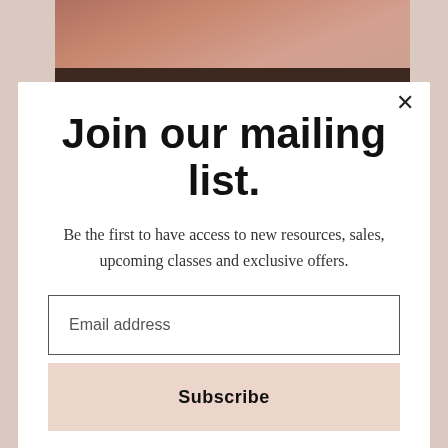[Figure (photo): Background photo showing a person wearing a hat, partially visible behind a modal dialog. Warm brownish tones.]
Join our mailing list.
Be the first to have access to new resources, sales, upcoming classes and exclusive offers.
Email address
Subscribe